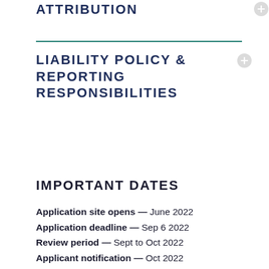ATTRIBUTION
LIABILITY POLICY & REPORTING RESPONSIBILITIES
IMPORTANT DATES
Application site opens — June 2022
Application deadline — Sep 6 2022
Review period — Sept to Oct 2022
Applicant notification — Oct 2022